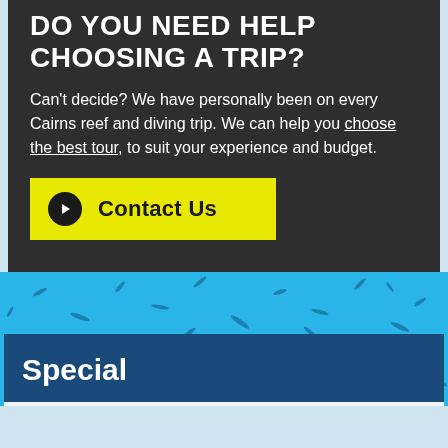DO YOU NEED HELP CHOOSING A TRIP?
Can't decide? We have personally been on every Cairns reef and diving trip. We can help you choose the best tour, to suit your experience and budget.
[Figure (other): Yellow 'Contact Us' button with dark circular arrow icon]
[Figure (photo): Underwater photo with blue water and small fish silhouettes scattered throughout]
Special